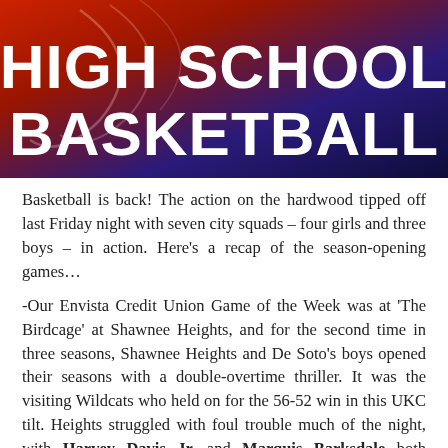[Figure (illustration): High School Basketball banner image with red and blue gradient background and bold white text reading HIGH SCHOOL BASKETBALL]
Basketball is back! The action on the hardwood tipped off last Friday night with seven city squads – four girls and three boys – in action. Here's a recap of the season-opening games…
-Our Envista Credit Union Game of the Week was at 'The Birdcage' at Shawnee Heights, and for the second time in three seasons, Shawnee Heights and De Soto's boys opened their seasons with a double-overtime thriller. It was the visiting Wildcats who held on for the 56-52 win in this UKC tilt. Heights struggled with foul trouble much of the night, with Harvey Davis Jr. and Marquis Barksdale both eventually fouling out,